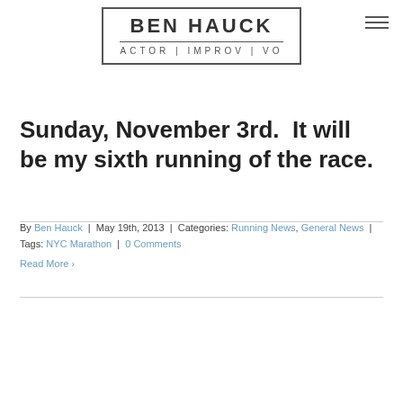[Figure (logo): Ben Hauck logo — bordered rectangle with text 'BEN HAUCK' in bold, a horizontal rule, and 'ACTOR | IMPROV | VO' below]
Sunday, November 3rd.  It will be my sixth running of the race.
By Ben Hauck | May 19th, 2013 | Categories: Running News, General News | Tags: NYC Marathon | 0 Comments
Read More